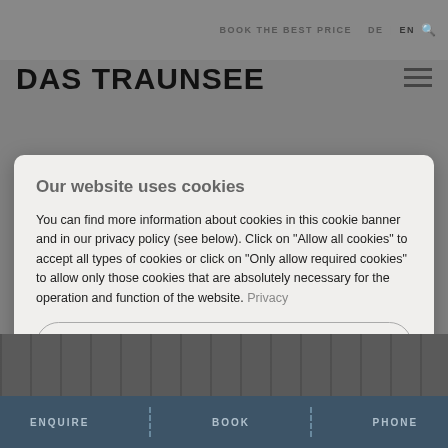BOOK THE BEST PRICE  DE | EN
DAS TRAUNSEE
Our website uses cookies
You can find more information about cookies in this cookie banner and in our privacy policy (see below). Click on "Allow all cookies" to accept all types of cookies or click on "Only allow required cookies" to allow only those cookies that are absolutely necessary for the operation and function of the website. Privacy
Show details
Only allow required cookies
Accept all cookies (incl. from US providers)
ENQUIRE  BOOK  PHONE